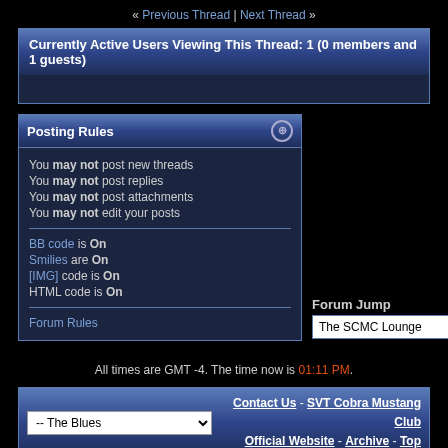« Previous Thread | Next Thread »
Currently Active Users Viewing This Thread: 1 (0 members and 1 guests)
Posting Rules
You may not post new threads
You may not post replies
You may not post attachments
You may not edit your posts
BB code is On
Smilies are On
[IMG] code is On
HTML code is On
Forum Rules
Forum Jump
The SCMC Lounge
All times are GMT -4. The time now is 01:11 PM.
-- The Blues
Contact Us - SVT Cobra Mustang Club Official Website - Archive - Top
Powered by vBulletin® Version 3.8.5
Copyright ©2000 - 2022, Jelsoft Enterprises Ltd.
Copyright © 1999-2019 SCMC, Inc